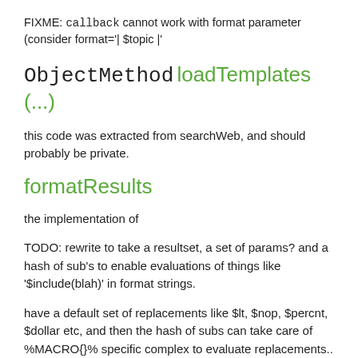FIXME: callback cannot work with format parameter (consider format='| $topic |'
ObjectMethod loadTemplates (...)
this code was extracted from searchWeb, and should probably be private.
formatResults
the implementation of
TODO: rewrite to take a resultset, a set of params? and a hash of sub's to enable evaluations of things like '$include(blah)' in format strings.
have a default set of replacements like $lt, $nop, $percnt, $dollar etc, and then the hash of subs can take care of %MACRO{}% specific complex to evaluate replacements..
(that way we don't pre-evaluate and then subst)